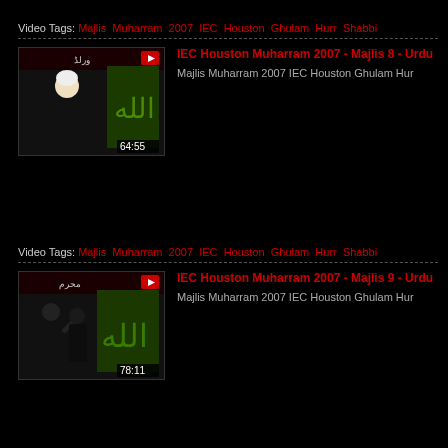Video Tags: Majlis Muharram 2007 IEC Houston Ghulam Hurr Shabbi...
[Figure (screenshot): Video thumbnail for IEC Houston Muharram 2007 - Majlis 8, duration 64:55, showing a speaker in black with white cap and green Arabic calligraphy background]
IEC Houston Muharram 2007 - Majlis 8 - Urdu
Majlis Muharram 2007 IEC Houston Ghulam Hur...
Video Tags: Majlis Muharram 2007 IEC Houston Ghulam Hurr Shabbi...
[Figure (screenshot): Video thumbnail for IEC Houston Muharram 2007 - Majlis 9, duration 78:11, showing speakers in black robes with green Arabic calligraphy background]
IEC Houston Muharram 2007 - Majlis 9 - Urdu
Majlis Muharram 2007 IEC Houston Ghulam Hur...